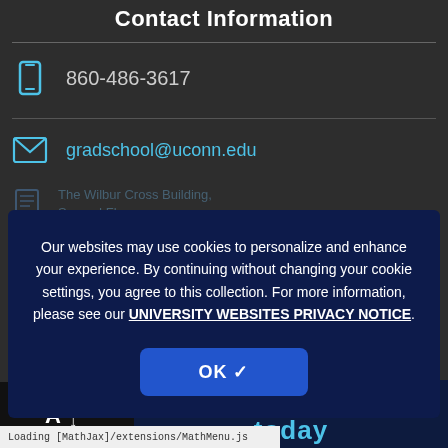Contact Information
860-486-3617
gradschool@uconn.edu
Our websites may use cookies to personalize and enhance your experience. By continuing without changing your cookie settings, you agree to this collection. For more information, please see our UNIVERSITY WEBSITES PRIVACY NOTICE.
8:30am to 4:30pm Monday through Friday
Loading [MathJax]/extensions/MathMenu.js